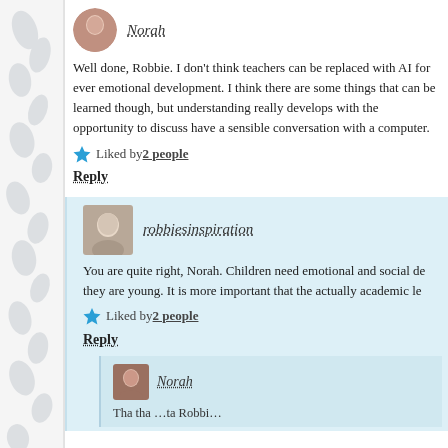Norah
Well done, Robbie. I don't think teachers can be replaced with AI for ever emotional development. I think there are some things that can be learned though, but understanding really develops with the opportunity to discuss have a sensible conversation with a computer.
Liked by 2 people
Reply
robbiesinspiration
You are quite right, Norah. Children need emotional and social de they are young. It is more important that the actually academic le
Liked by 2 people
Reply
Norah
Tha tha …ta Robbi…